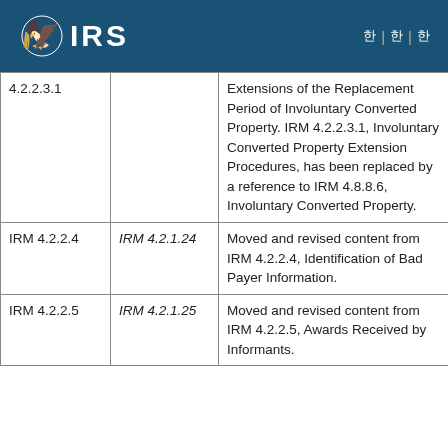IRS
|  |  |  |
| --- | --- | --- |
| 4.2.2.3.1 |  | Extensions of the Replacement Period of Involuntary Converted Property. IRM 4.2.2.3.1, Involuntary Converted Property Extension Procedures, has been replaced by a reference to IRM 4.8.8.6, Involuntary Converted Property. |
| IRM 4.2.2.4 | IRM 4.2.1.24 | Moved and revised content from IRM 4.2.2.4, Identification of Bad Payer Information. |
| IRM 4.2.2.5 | IRM 4.2.1.25 | Moved and revised content from IRM 4.2.2.5, Awards Received by Informants. |